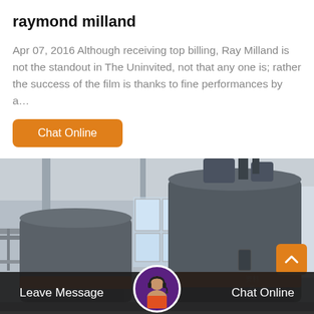raymond milland
Apr 07, 2016 Although receiving top billing, Ray Milland is not the standout in The Uninvited, not that any one is; rather the success of the film is thanks to fine performances by a…
[Figure (photo): Industrial raymond mill machines in a factory setting, large grey cylindrical grinding machines with orange accents, industrial building interior visible]
Leave Message  Chat Online